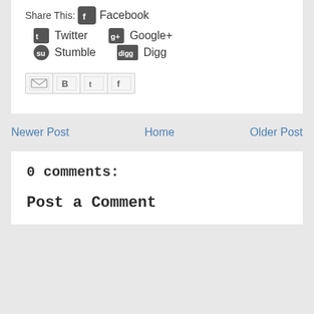Share This: Facebook Twitter Google+ Stumble Digg
[Figure (other): Blog sharing buttons row: Gmail, Blogger, Twitter, Facebook icons]
Newer Post | Home | Older Post
0 comments:
Post a Comment